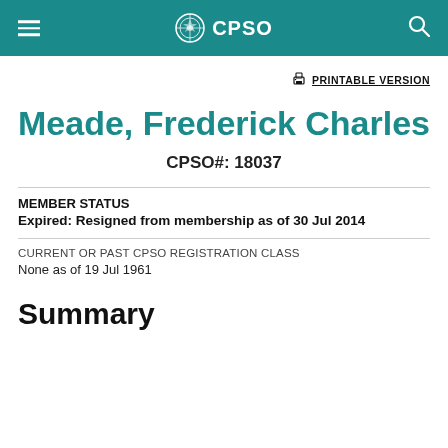CPSO
PRINTABLE VERSION
Meade, Frederick Charles
CPSO#: 18037
MEMBER STATUS
Expired: Resigned from membership as of 30 Jul 2014
CURRENT OR PAST CPSO REGISTRATION CLASS
None as of 19 Jul 1961
Summary